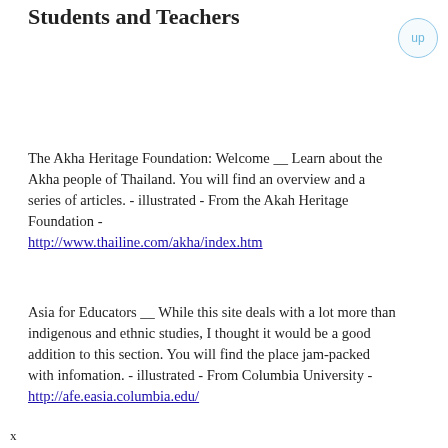Students and Teachers
The Akha Heritage Foundation: Welcome __ Learn about the Akha people of Thailand. You will find an overview and a series of articles. - illustrated - From the Akah Heritage Foundation - http://www.thailine.com/akha/index.htm
Asia for Educators __ While this site deals with a lot more than indigenous and ethnic studies, I thought it would be a good addition to this section. You will find the place jam-packed with infomation. - illustrated - From Columbia University - http://afe.easia.columbia.edu/
x